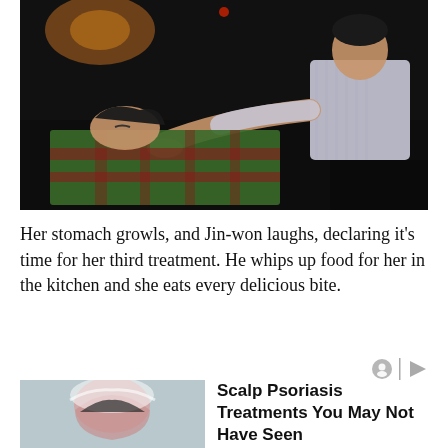[Figure (photo): Dark scene showing a man in a striped shirt reaching out to touch a woman lying down covered with a plaid blanket, nighttime setting]
Her stomach growls, and Jin-won laughs, declaring it's time for her third treatment. He whips up food for her in the kitchen and she eats every delicious bite.
[Figure (photo): Advertisement thumbnail showing a person washing hair, for Scalp Psoriasis Treatments]
Scalp Psoriasis Treatments You May Not Have Seen